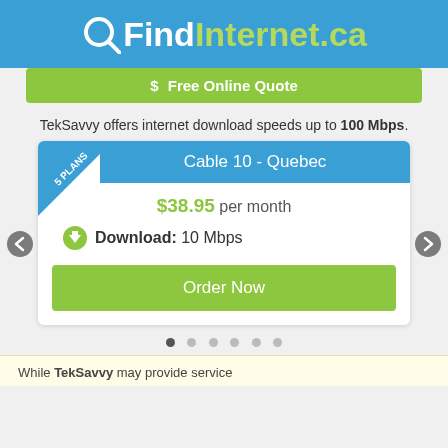QFindInternet.ca
$ Free Online Quote
TekSavvy offers internet download speeds up to 100 Mbps.
[Figure (screenshot): Internet plan card showing '5 PLANS' ribbon on top-left corner, 'Cable 10 - Quebec' plan header in blue, price '$38.95 per month', Download: 10 Mbps, and an 'Order Now' green button. Navigation arrows on sides and 6 pagination dots below.]
While TekSavvy may provide service